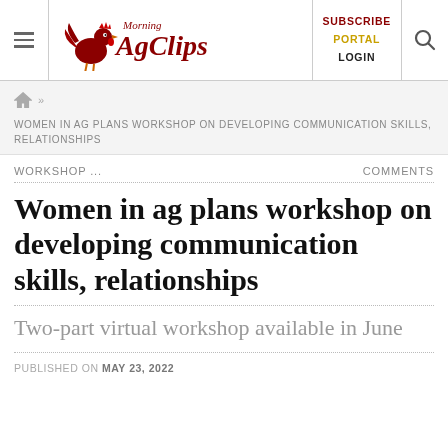Morning AgClips — SUBSCRIBE PORTAL LOGIN
WOMEN IN AG PLANS WORKSHOP ON DEVELOPING COMMUNICATION SKILLS, RELATIONSHIPS
WORKSHOP ... COMMENTS
Women in ag plans workshop on developing communication skills, relationships
Two-part virtual workshop available in June
PUBLISHED ON MAY 23, 2022